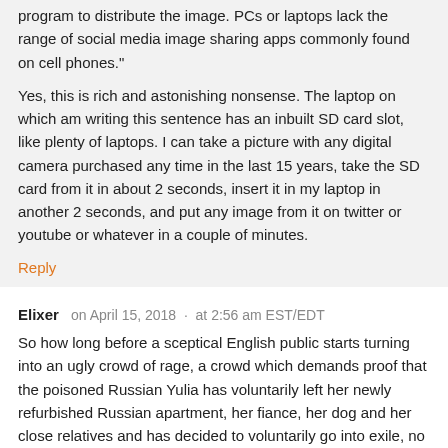program to distribute the image. PCs or laptops lack the range of social media image sharing apps commonly found on cell phones."
Yes, this is rich and astonishing nonsense. The laptop on which am writing this sentence has an inbuilt SD card slot, like plenty of laptops. I can take a picture with any digital camera purchased any time in the last 15 years, take the SD card from it in about 2 seconds, insert it in my laptop in another 2 seconds, and put any image from it on twitter or youtube or whatever in a couple of minutes.
Reply
Elixer   on April 15, 2018  ·  at 2:56 am EST/EDT
So how long before a sceptical English public starts turning into an ugly crowd of rage, a crowd which demands proof that the poisoned Russian Yulia has voluntarily left her newly refurbished Russian apartment, her fiance, her dog and her close relatives and has decided to voluntarily go into exile, no longer wishing to talk to the world?